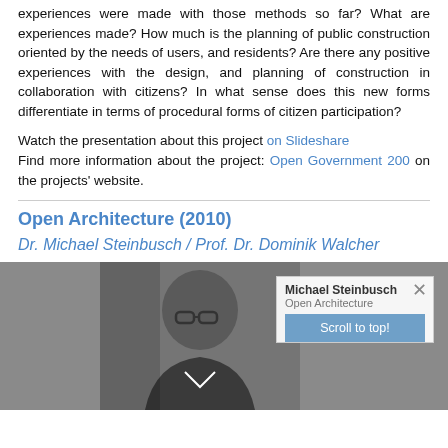experiences were made with those methods so far? What are experiences made? How much is the planning of public construction oriented by the needs of users, and residents? Are there any positive experiences with the design, and planning of construction in collaboration with citizens? In what sense does this new forms differentiate in terms of procedural forms of citizen participation?
Watch the presentation about this project on Slideshare Find more information about the project: Open Government 200 on the projects' website.
Open Architecture (2010)
Dr. Michael Steinbusch / Prof. Dr. Dominik Walcher
[Figure (screenshot): Video screenshot showing a man with glasses and a tooltip overlay with 'Michael Steinbusch, Open Architecture' and a 'Scroll to top!' button]